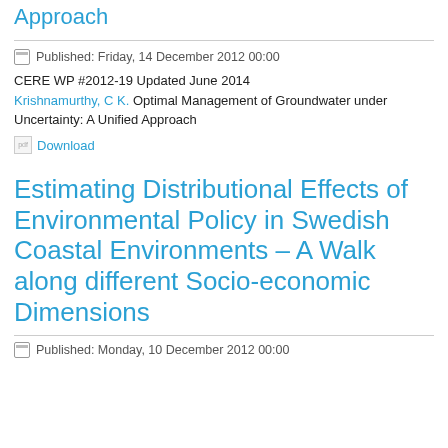Approach
Published: Friday, 14 December 2012 00:00
CERE WP #2012-19 Updated June 2014
Krishnamurthy, C K. Optimal Management of Groundwater under Uncertainty: A Unified Approach
pdf Download
Estimating Distributional Effects of Environmental Policy in Swedish Coastal Environments – A Walk along different Socio-economic Dimensions
Published: Monday, 10 December 2012 00:00